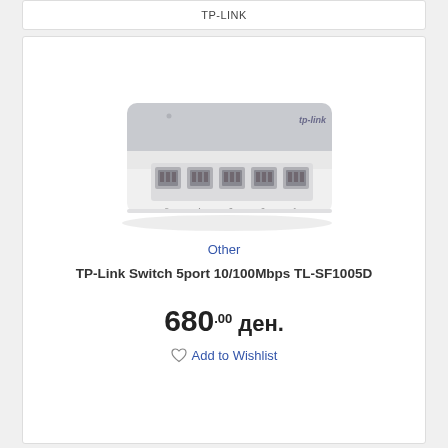[Figure (photo): TP-Link 5-port network switch (TL-SF1005D) shown from front-bottom angle, white plastic body with gray top, five RJ45 ethernet ports numbered 1-5]
Other
TP-Link Switch 5port 10/100Mbps TL-SF1005D
680.00 ден.
Add to Wishlist